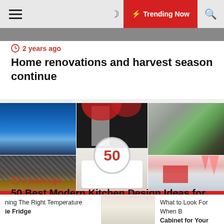≡  🌙  ⚡ Trending Now  🔍
🕐 2 years ago
Home renovations and harvest season continue
[Figure (photo): Collage of 5 modern kitchen design photos arranged in a 3-column grid with a red banner at the bottom showing partial text 'BEST...DESIGNS', and a circular badge with '50' overlaid on the center image.]
🕐 2 years ago
50 Best Modern Kitchen Design Ideas for 2020
ning The Right Temperature  ie Fridge  |  [image]  |  What to Look For When B Cabinet for Your Home